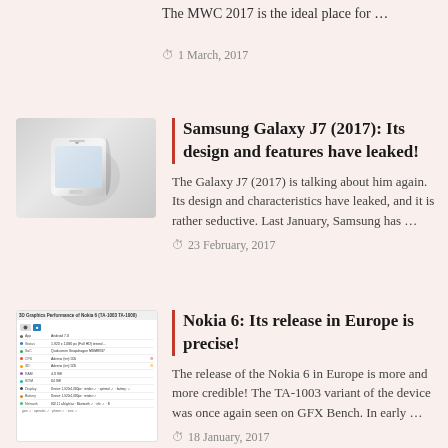The MWC 2017 is the ideal place for …
1 March, 2017
[Figure (photo): Rendered 3D image of a white Samsung Galaxy J7 smartphone]
Samsung Galaxy J7 (2017): Its design and features have leaked!
The Galaxy J7 (2017) is talking about him again. Its design and characteristics have leaked, and it is rather seductive. Last January, Samsung has …
23 February, 2017
[Figure (screenshot): Screenshot of GFX Bench performance results page for Nokia 6 (TA-1003, TA-1000)]
Nokia 6: Its release in Europe is precise!
The release of the Nokia 6 in Europe is more and more credible! The TA-1003 variant of the device was once again seen on GFX Bench. In early …
18 January, 2017